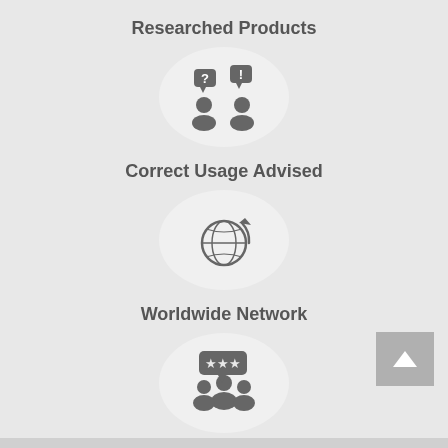Researched Products
[Figure (illustration): Icon of two people with speech bubbles containing question and exclamation marks, inside a white oval circle]
Correct Usage Advised
[Figure (illustration): Icon of a globe with a circular arrow, inside a white oval circle]
Worldwide Network
[Figure (illustration): Icon of a group of people with a speech bubble containing three stars, inside a white oval circle]
50,000+ Testimonials